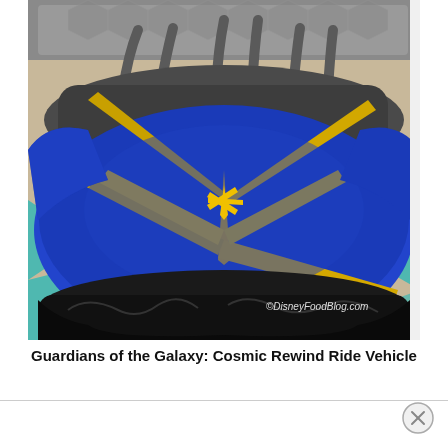[Figure (photo): Close-up photo of a blue and gold Guardians of the Galaxy: Cosmic Rewind ride vehicle with star-burst design on the front, gray over-the-shoulder restraints, black base/wheels, sitting on a tiled floor with teal and brown pattern. Watermark reads ©DisneyFoodBlog.com in bottom right corner.]
Guardians of the Galaxy: Cosmic Rewind Ride Vehicle